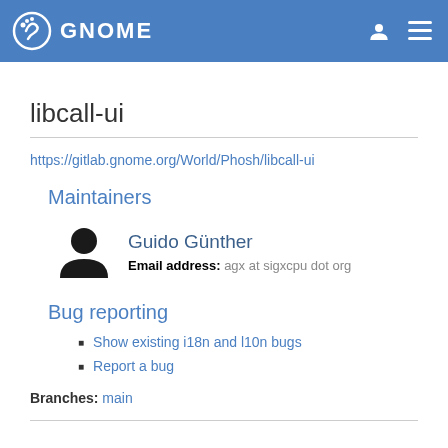GNOME
libcall-ui
https://gitlab.gnome.org/World/Phosh/libcall-ui
Maintainers
Guido Günther
Email address: agx at sigxcpu dot org
Bug reporting
Show existing i18n and l10n bugs
Report a bug
Branches: main